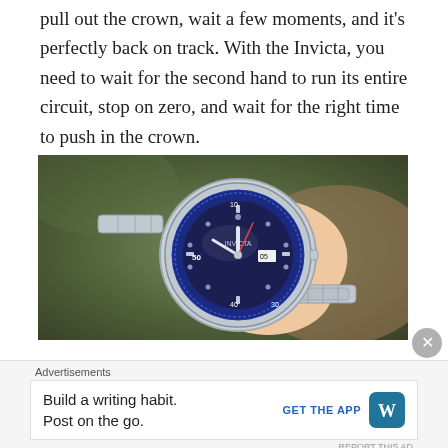pull out the crown, wait a few moments, and it's perfectly back on track. With the Invicta, you need to wait for the second hand to run its entire circuit, stop on zero, and wait for the right time to push in the crown.
[Figure (photo): A hand holding an Invicta diver-style wristwatch with a blue bezel and blue dial, silver bracelet, outdoors with green and brown blurred background]
Advertisements
Build a writing habit. Post on the go.
GET THE APP